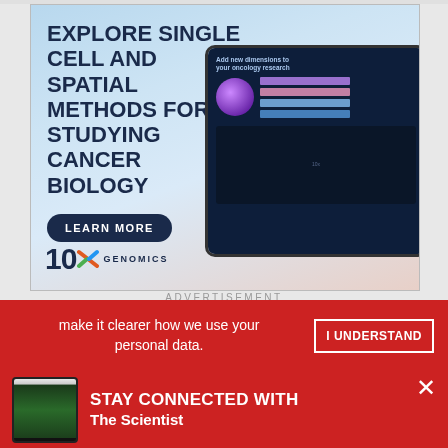[Figure (infographic): 10x Genomics advertisement banner. Large dark blue bold text reads 'EXPLORE SINGLE CELL AND SPATIAL METHODS FOR STUDYING CANCER BIOLOGY'. A 'LEARN MORE' button in dark navy pill shape. 10x Genomics logo at bottom left. Right side shows a tablet device with a layered genomics infographic on a dark navy background.]
ADVERTISEMENT
make it clearer how we use your personal data.
I UNDERSTAND
[Figure (infographic): Small tablet/iPad device showing The Scientist magazine cover]
STAY CONNECTED WITH The Scientist